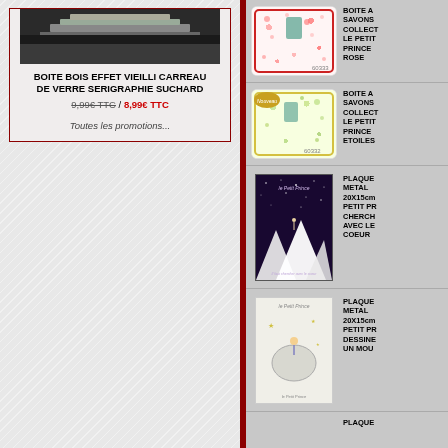[Figure (photo): Photo of a decorative wooden box with stained glass effect, Suchard brand]
BOITE BOIS EFFET VIEILLI CARREAU DE VERRE SERIGRAPHIE SUCHARD
9,99€ TTC / 8,99€ TTC
Toutes les promotions...
[Figure (photo): Boite à savons collection Le Petit Prince rose, reference 60333]
BOITE A SAVONS COLLECTION LE PETIT PRINCE ROSE
[Figure (photo): Boite à savons collection Le Petit Prince Etoiles, reference 60332, Nouveau]
BOITE A SAVONS COLLECTION LE PETIT PRINCE ETOILES
[Figure (photo): Plaque metal 20x15cm Petit Prince cherche avec le coeur, dark night scene]
PLAQUE METAL 20X15cm PETIT PRINCE CHERCHE AVEC LE COEUR
[Figure (photo): Plaque metal 20x15cm Petit Prince dessine-moi un mouton]
PLAQUE METAL 20X15cm PETIT PR DESSINE UN MOU
PLAQUE